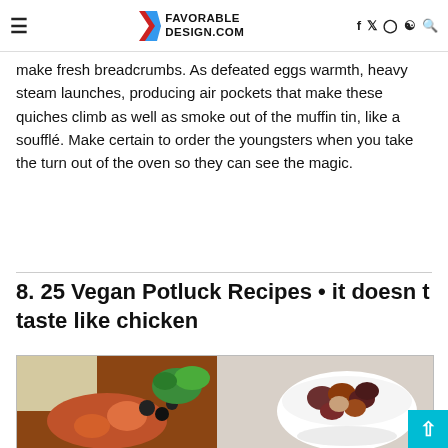FAVORABLE DESIGN.COM
make fresh breadcrumbs. As defeated eggs warmth, heavy steam launches, producing air pockets that make these quiches climb as well as smoke out of the muffin tin, like a soufflé. Make certain to order the youngsters when you take the turn out of the oven so they can see the magic.
8. 25 Vegan Potluck Recipes • it doesn t taste like chicken
[Figure (photo): Food photo showing a bowl of vegan stew with vegetables and a side bowl of mixed nuts/olives]